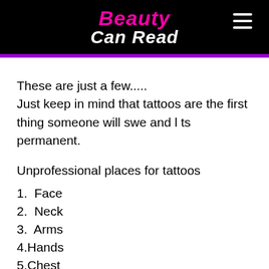Beauty Can Read
These are just a few.....
Just keep in mind that tattoos are the first thing someone will swe and l ts permanent.
Unprofessional places for tattoos
1.  Face
2.  Neck
3.  Arms
4.Hands
5.Chest